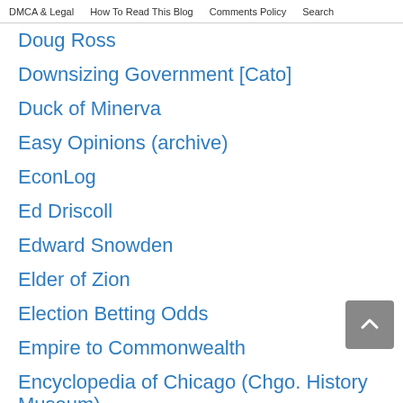DMCA & Legal   How To Read This Blog   Comments Policy   Search
Doug Ross
Downsizing Government [Cato]
Duck of Minerva
Easy Opinions (archive)
EconLog
Ed Driscoll
Edward Snowden
Elder of Zion
Election Betting Odds
Empire to Commonwealth
Encyclopedia of Chicago (Chgo. History Museum)
English Russia
Envisioning the American Dream